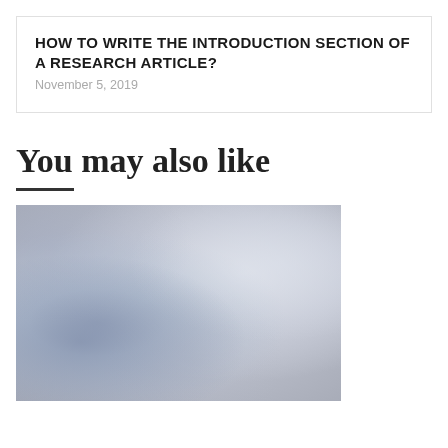HOW TO WRITE THE INTRODUCTION SECTION OF A RESEARCH ARTICLE?
November 5, 2019
You may also like
[Figure (photo): A photo showing crumpled paper or fabric in blue/white tones on a light beige/grey surface, partially visible at the bottom of the page.]